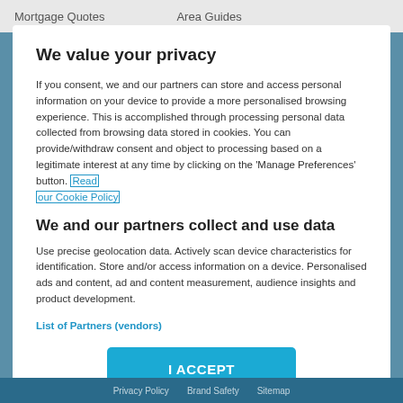Mortgage Quotes    Area Guides
We value your privacy
If you consent, we and our partners can store and access personal information on your device to provide a more personalised browsing experience. This is accomplished through processing personal data collected from browsing data stored in cookies. You can provide/withdraw consent and object to processing based on a legitimate interest at any time by clicking on the 'Manage Preferences' button. Read our Cookie Policy
We and our partners collect and use data
Use precise geolocation data. Actively scan device characteristics for identification. Store and/or access information on a device. Personalised ads and content, ad and content measurement, audience insights and product development.
List of Partners (vendors)
I ACCEPT
Privacy Policy   Brand Safety   Sitemap